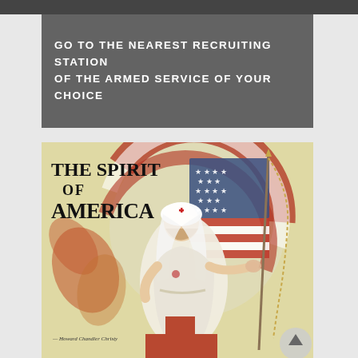[Figure (photo): Top dark gray/black banner strip across the page]
GO TO THE NEAREST RECRUITING STATION OF THE ARMED SERVICE OF YOUR CHOICE
[Figure (illustration): World War era patriotic poster titled 'The Spirit of America' showing a Red Cross nurse in white dress and cap holding an American flag, with a red cross symbol at the bottom. Signed by Howard Chandler Christy.]